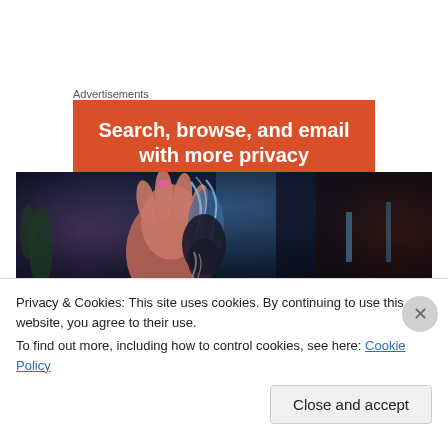Advertisements
[Figure (infographic): Orange advertisement banner with white bold text reading 'Search, browse, and email with more privacy']
[Figure (photo): Dark cinematic image with blue and red tones showing a figure with flowing water and chains against a dramatic background]
Privacy & Cookies: This site uses cookies. By continuing to use this website, you agree to their use.
To find out more, including how to control cookies, see here: Cookie Policy
Close and accept